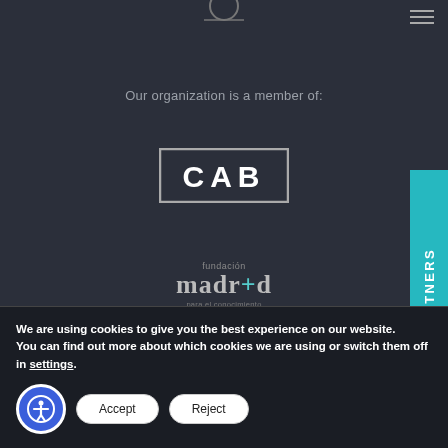[Figure (logo): Partial circular logo at top center]
[Figure (illustration): Hamburger menu icon (three horizontal lines) at top right]
Our organization is a member of:
[Figure (logo): CAB logo - white letters C, A, B in a rectangular border]
[Figure (logo): Fundación madr+d para el conocimiento logo]
[Figure (logo): Partial circular logo at bottom of main area]
[Figure (illustration): PARTNERS vertical tab on right side in teal/cyan color]
We are using cookies to give you the best experience on our website.
You can find out more about which cookies we are using or switch them off in settings.
[Figure (illustration): Accessibility icon button (person in circle) in blue]
Accept
Reject